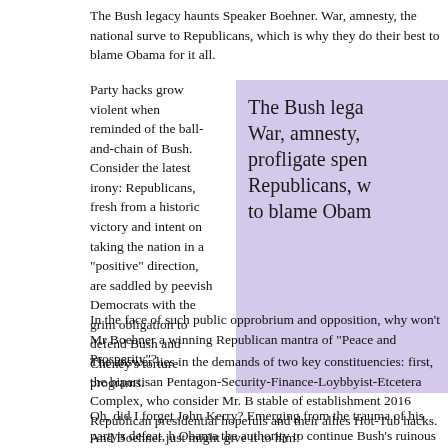The Bush legacy haunts Speaker Boehner. War, amnesty, the national survey to Republicans, which is why they do their best to blame Obama for it all.
Party hacks grow violent when reminded of the ball-and-chain of Bush. Consider the latest irony: Republicans, fresh from a historic victory and intent on taking the nation in a “positive” direction, are saddled by peevish Democrats with the grim obligation to defend Bush and Cheney’s torture programs.
The Bush legacy War, amnesty, profligate spending Republicans, w to blame Obam
In the face of such public opprobrium and opposition, why won’t Mr Boehner a winning Republican mantra of “Peace and Prosperity”?
The answer lies in the demands of two key constituencies: first, the bipartisan Pentagon-Security-Finance-Loybbyist-Etcetera Complex, who consider Mr. B stable of establishment 2016 Republican presidential hopefuls and their allies Hot-Tub hacks.
Oh, did I forget John Kerry? Emerging from the trauma of his party’s defeat, h Obama the authority to continue Bush’s ruinous wars, and to start any new o
And Boehner just might give it to him!
This illustrates the bipartisan nature of the Cronies: war is the health of the st on running dry.
How Do You Spell “Betrayal”?
When Republicans sell out (and they always do), they waffle — until they’re c bold truth-tollers.